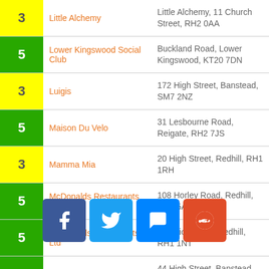| Rating | Name | Address |
| --- | --- | --- |
| 3 | Little Alchemy | Little Alchemy, 11 Church Street, RH2 0AA |
| 5 | Lower Kingswood Social Club | Buckland Road, Lower Kingswood, KT20 7DN |
| 3 | Luigis | 172 High Street, Banstead, SM7 2NZ |
| 5 | Maison Du Velo | 31 Lesbourne Road, Reigate, RH2 7JS |
| 3 | Mamma Mia | 20 High Street, Redhill, RH1 1RH |
| 5 | McDonalds Restaurants Ltd | 108 Horley Road, Redhill, RH1 5AA |
| 5 | McDonalds Restaurants Ltd | 3 Station Road, Redhill, RH1 1NT |
| 5 | Med-plaice | 44 High Street, Banstead, SM7 2NK |
|  | Mandarin Chinese | Unit 6 Queensway Road, ... |